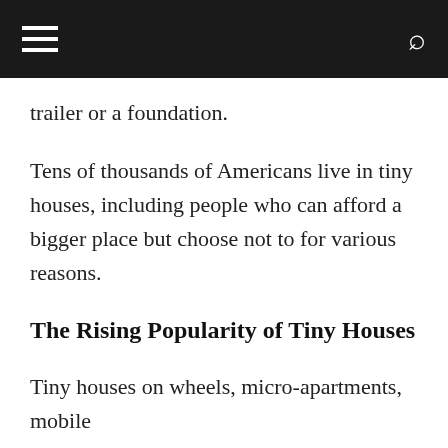trailer or a foundation.
Tens of thousands of Americans live in tiny houses, including people who can afford a bigger place but choose not to for various reasons.
The Rising Popularity of Tiny Houses
Tiny houses on wheels, micro-apartments, mobile